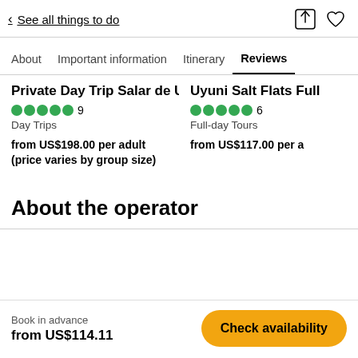< See all things to do
About  Important information  Itinerary  Reviews
Private Day Trip Salar de Uyuni
5 stars  9
Day Trips
from US$198.00 per adult (price varies by group size)
Uyuni Salt Flats Full
5 stars  6
Full-day Tours
from US$117.00 per a
About the operator
Book in advance
from US$114.11
Check availability